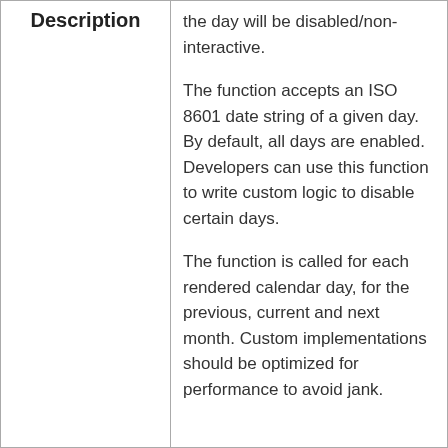| Label | Content |
| --- | --- |
| Description | the day will be disabled/non-interactive.

The function accepts an ISO 8601 date string of a given day. By default, all days are enabled. Developers can use this function to write custom logic to disable certain days.

The function is called for each rendered calendar day, for the previous, current and next month. Custom implementations should be optimized for performance to avoid jank. |